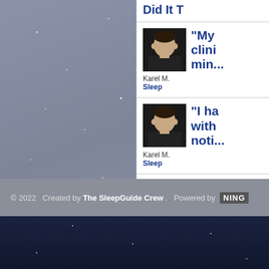[Figure (screenshot): Night sky background with stars, gray-blue gradient. Right sidebar with white background showing blog post previews.]
Did It T...
"My clini min..." Karel M. Sleep
"I ha with noti..." Karel M. Sleep
© 2022   Created by The SleepGuide Crew .   Powered by  NING